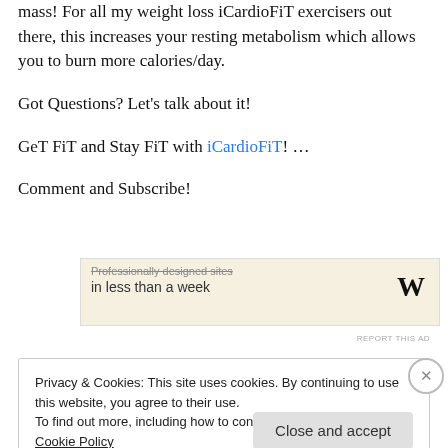mass!  For all my weight loss iCardioFiT exercisers out there, this increases your resting metabolism which allows you to burn more calories/day.
Got Questions? Let's talk about it!
GeT FiT and Stay FiT with iCardioFiT! …
Comment and Subscribe!
[Figure (other): Advertisement banner with text 'Professionally designed sites in less than a week' and WordPress logo]
REPORT THIS AD
Privacy & Cookies: This site uses cookies. By continuing to use this website, you agree to their use.
To find out more, including how to control cookies, see here: Cookie Policy